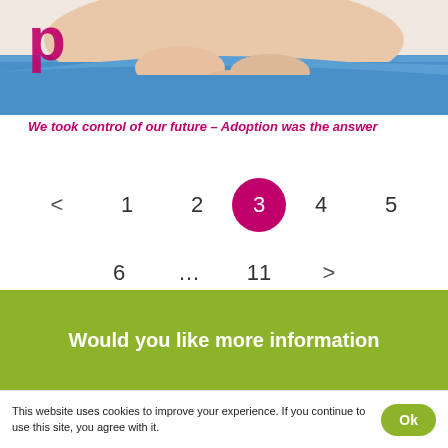[Figure (photo): Partial top view of a baby in a blue shirt, with pink logo letters visible at top left]
We took control of our future – Adoption was the answer
< 1 2 3 4 5 6 ... 11 > (pagination navigation, page 3 active)
Would you like more information
This website uses cookies to improve your experience. If you continue to use this site, you agree with it.